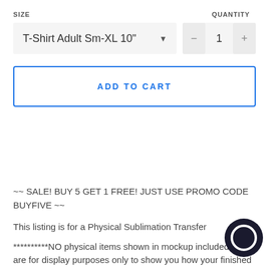SIZE
QUANTITY
T-Shirt Adult Sm-XL 10"
1
ADD TO CART
~~ SALE! BUY 5 GET 1 FREE! JUST USE PROMO CODE BUYFIVE ~~
This listing is for a Physical Sublimation Transfer
**********NO physical items shown in mockup included. They are for display purposes only to show you how your finished product could come out. The